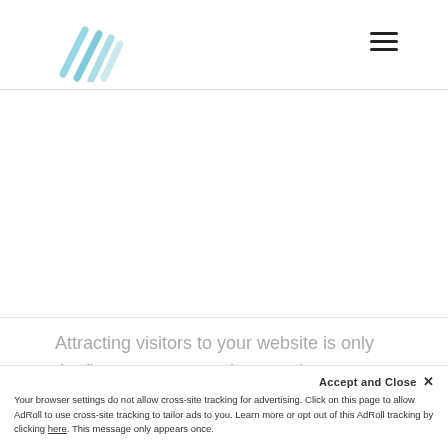[Figure (logo): Diagonal teal/blue parallel lines forming an abstract logo mark]
[Figure (other): Hamburger menu icon with three horizontal black lines]
Attracting visitors to your website is only the first step — once they get there, you want to make sure they hang around. What's more,....
Accept and Close ✕
Your browser settings do not allow cross-site tracking for advertising. Click on this page to allow AdRoll to use cross-site tracking to tailor ads to you. Learn more or opt out of this AdRoll tracking by clicking here. This message only appears once.